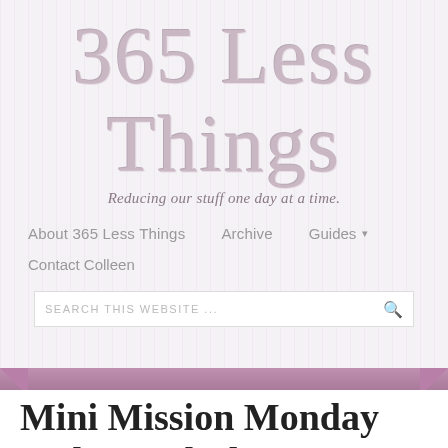365 Less Things
Reducing our stuff one day at a time.
About 365 Less Things   Archive   Guides ▾
Contact Colleen
SEARCH THIS WEBSITE ...
Mini Mission Monday ~ Plan to declutter